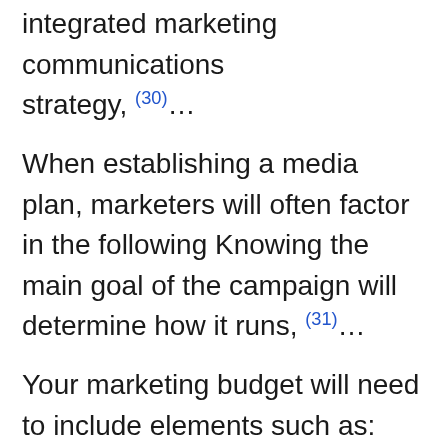ensure that to help you develop your integrated marketing communications strategy, (30)…
When establishing a media plan, marketers will often factor in the following Knowing the main goal of the campaign will determine how it runs, (31)…
Your marketing budget will need to include elements such as: website development and maintenance; search engine optimisation strategy; design of branding (32)